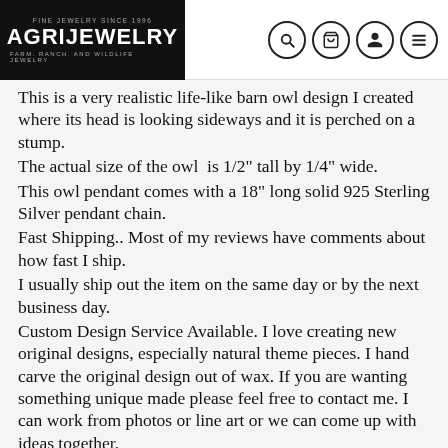AGRIJEWELRY — FINE JEWELRY SINCE 1996 — FARM. RANCH. AND WILDLIFE JEWELRY
This is a very realistic life-like barn owl design I created where its head is looking sideways and it is perched on a stump.
The actual size of the owl is 1/2" tall by 1/4" wide.
This owl pendant comes with a 18" long solid 925 Sterling Silver pendant chain.
Fast Shipping.. Most of my reviews have comments about how fast I ship.
I usually ship out the item on the same day or by the next business day.
Custom Design Service Available. I love creating new original designs, especially natural theme pieces. I hand carve the original design out of wax. If you are wanting something unique made please feel free to contact me. I can work from photos or line art or we can come up with ideas together.